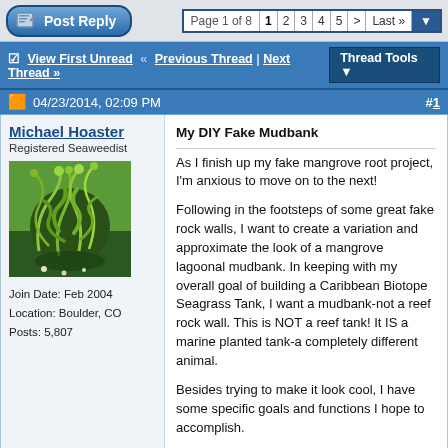Post Reply | Page 1 of 8  1 2 3 4 5 > Last »
View First Unread « Previous Thread | Next Thread » | Thread Tools
04/23/2014, 02:09 PM  #1
Michael Hoaster
Registered Seaweedist
Join Date: Feb 2004
Location: Boulder, CO
Posts: 5,807
[Figure (photo): Photo of aquatic plant with green tangled roots/branches in an aquarium]
My DIY Fake Mudbank

As I finish up my fake mangrove root project, I'm anxious to move on to the next!

Following in the footsteps of some great fake rock walls, I want to create a variation and approximate the look of a mangrove lagoonal mudbank. In keeping with my overall goal of building a Caribbean Biotope Seagrass Tank, I want a mudbank-not a reef rock wall. This is NOT a reef tank! It IS a marine planted tank-a completely different animal.

Besides trying to make it look cool, I have some specific goals and functions I hope to accomplish.

My number one goal is to provide numerous caves for some specific